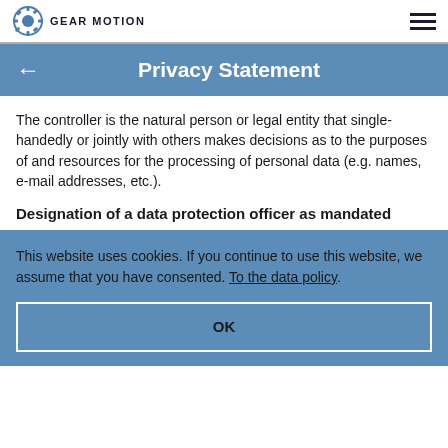GEAR MOTION
Privacy Statement
The controller is the natural person or legal entity that single-handedly or jointly with others makes decisions as to the purposes of and resources for the processing of personal data (e.g. names, e-mail addresses, etc.).
Designation of a data protection officer as mandated
This website uses cookies. If you continue to use this website, we assume that you have consented. To the data policy
OK